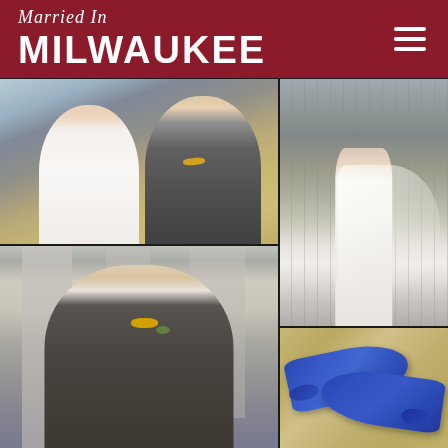Married In MILWAUKEE
[Figure (photo): Wedding couple portrait: smiling bride in white dress and groom in grey suit with yellow bow tie, standing together outdoors near urban bridge structure]
[Figure (photo): Bride seen from behind walking away on wooden bridge walkway, wearing backless white wedding gown with long veil trailing behind]
[Figure (photo): Close-up portrait of groom smiling, wearing grey suit with yellow bow tie and boutonniere, under bridge structure]
[Figure (photo): Blue satin high-heel wedding shoes with bow detail laid on warm-toned surface]